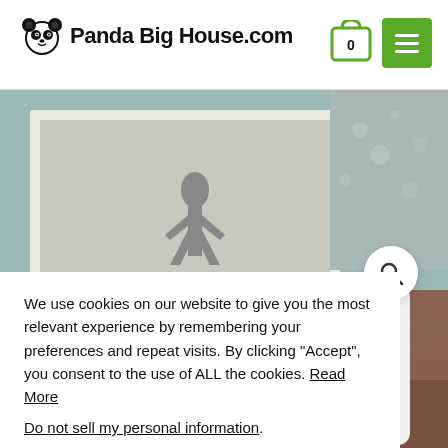[Figure (logo): Panda Big House.com logo with panda face icon and bold text]
[Figure (photo): Background showing two overlapping photos: a black and white photo of a person on a beach, and a colorful toy/collectible card on a brick surface]
We use cookies on our website to give you the most relevant experience by remembering your preferences and repeat visits. By clicking “Accept”, you consent to the use of ALL the cookies. Read More
Do not sell my personal information.
Cookie settings
ACCEPT